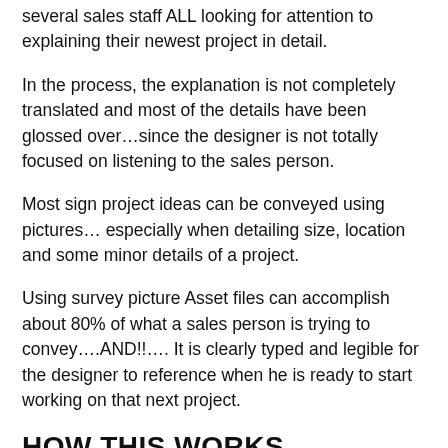several sales staff ALL looking for attention to explaining their newest project in detail.
In the process, the explanation is not completely translated and most of the details have been glossed over…since the designer is not totally focused on listening to the sales person.
Most sign project ideas can be conveyed using pictures… especially when detailing size, location and some minor details of a project.
Using survey picture Asset files can accomplish about 80% of what a sales person is trying to convey….AND!!…. It is clearly typed and legible for the designer to reference when he is ready to start working on that next project.
HOW THIS WORKS